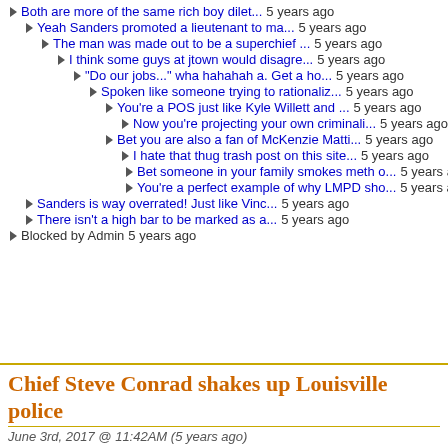Both are more of the same rich boy dilet...  5 years ago
Yeah Sanders promoted a lieutenant to ma...  5 years ago
The man was made out to be a superchief ...  5 years ago
I think some guys at jtown would disagre...  5 years ago
"Do our jobs..." wha hahahah a. Get a ho...  5 years ago
Spoken like someone trying to rationaliz...  5 years ago
You're a POS just like Kyle Willett and ...  5 years ago
Now you're projecting your own criminali...  5 years ago
Bet you are also a fan of McKenzie Matti...  5 years ago
I hate that thug trash post on this site...  5 years ago
Bet someone in your family smokes meth o...  5 years ago
You're a perfect example of why LMPD sho...  5 years ago
Sanders is way overrated! Just like Vinc...  5 years ago
There isn't a high bar to be marked as a...  5 years ago
Blocked by Admin  5 years ago
Chief Steve Conrad shakes up Louisville police
June 3rd, 2017 @ 11:42AM (5 years ago)